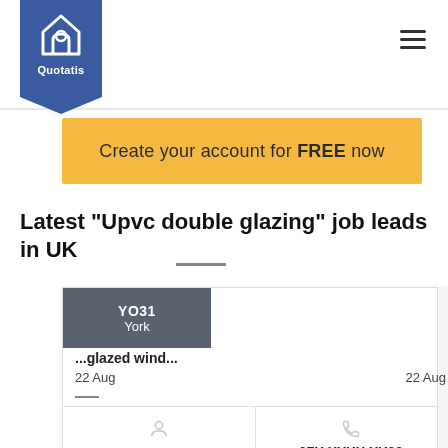[Figure (logo): Quotatis logo: house icon in white on blue pentagon/shield badge with text 'Quotatis']
Create your account for FREE now
Latest "Upvc double glazing" job leads in UK
[Figure (infographic): Job lead card showing YO31 York location tag, service description '...glazed wind...', date '22 Aug', client 'Mr C...' and telephone '07X XXXX XX00'. A second partially visible card is shown on the right.]
Mr C...
07X XXXX XX00